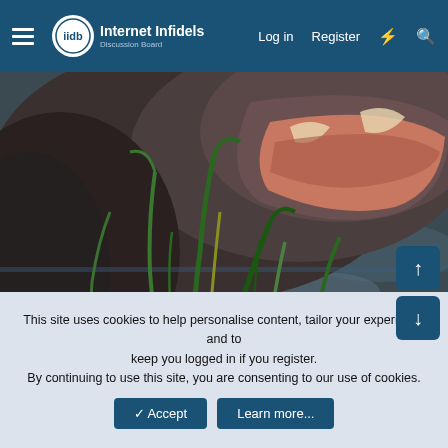Internet Infidels Discussion Board — Log in | Register
[Figure (photo): Close-up photograph of a hippopotamus with its mouth open, partially submerged in water, with green reeds/grass in the foreground]
This site uses cookies to help personalise content, tailor your experience and to keep you logged in if you register.
By continuing to use this site, you are consenting to our use of cookies.